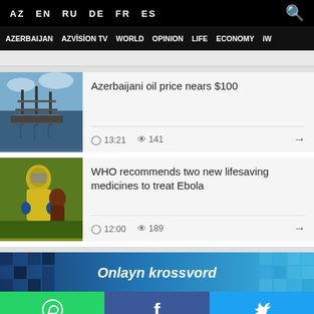AZ EN RU DE FR ES
AZERBAIJAN  AZVİSİON TV  WORLD  OPINION  LIFE  ECONOMY  iW
Azerbaijani oil price nears $100 | 13:21 | 141
WHO recommends two new lifesaving medicines to treat Ebola | 12:00 | 189
[Figure (infographic): Crossword puzzle banner with Azerbaijani text 'Onlayn krossvord']
[Figure (infographic): Social media buttons: WhatsApp (green), Facebook (dark blue), Twitter (light blue)]